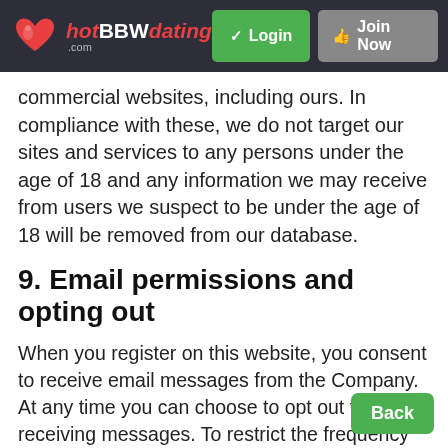hotBBWdating.com — Login | Join Now
commercial websites, including ours. In compliance with these, we do not target our sites and services to any persons under the age of 18 and any information we may receive from users we suspect to be under the age of 18 will be removed from our database.
9. Email permissions and opting out
When you register on this website, you consent to receive email messages from the Company. At any time you can choose to opt out from receiving messages. To restrict the frequency or to stop receiving emails from us, simply login using your username and password and go to the your Profile section of the website. Using the Settings feature you can then manage your options to receive, restrict or stop promotional emails a... notifications.